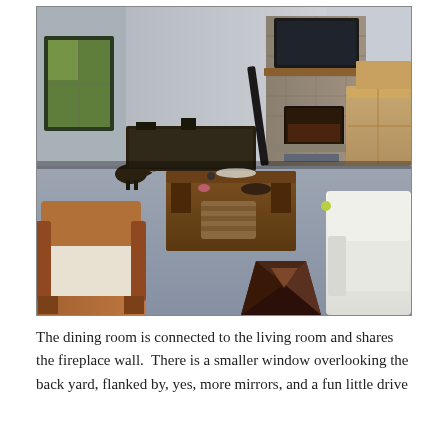[Figure (photo): Interior photo of a large living room with grey carpet, a stone fireplace with a TV mounted above it, a wooden coffee table with a storage basket, a geometric dark wood side table, white sofas, a wooden armchair in the foreground, a dog near the left, and moving boxes visible on the right.]
The dining room is connected to the living room and shares the fireplace wall.  There is a smaller window overlooking the back yard, flanked by, yes, more mirrors, and a fun little drive